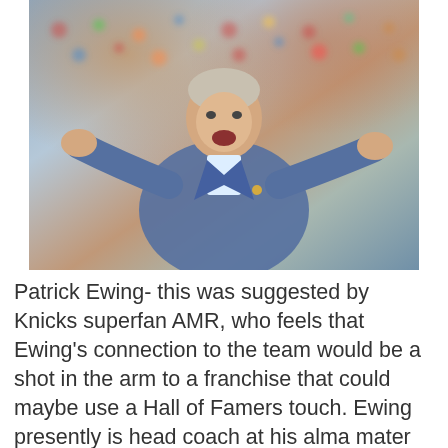[Figure (photo): A man in a blue suit jacket with arms spread wide open, appearing to gesture expressively, with a blurred stadium crowd in the background.]
Patrick Ewing- this was suggested by Knicks superfan AMR, who feels that Ewing's connection to the team would be a shot in the arm to a franchise that could maybe use a Hall of Famers touch. Ewing presently is head coach at his alma mater Georgetown, but has been an NBA assistant so he would know the grind. Also, Ewing was an outside shooting center long before outside shooting centers were a thing in the...